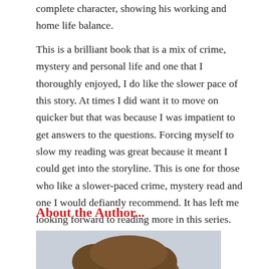complete character, showing his working and home life balance.
This is a brilliant book that is a mix of crime, mystery and personal life and one that I thoroughly enjoyed, I do like the slower pace of this story. At times I did want it to move on quicker but that was because I was impatient to get answers to the questions. Forcing myself to slow my reading was great because it meant I could get into the storyline. This is one for those who like a slower-paced crime, mystery read and one I would defiantly recommend. It has left me looking forward to reading more in this series.
About the Author...
[Figure (photo): Photo of the author, showing the top portion of a person's head with brown hair, against a light grey/overcast sky background.]